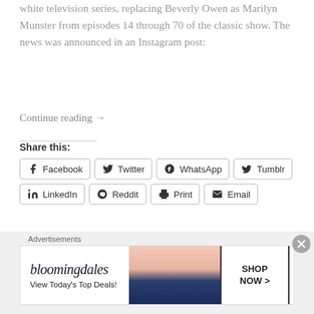white television series, replacing Beverly Owen as Marilyn Munster from episodes 14 through 70 of the classic show. The news was announced in an Instagram post:
Continue reading →
Share this:
[Figure (screenshot): Row of social share buttons: Facebook, Twitter, WhatsApp, Tumblr, LinkedIn, Reddit, Print, Email]
[Figure (screenshot): Like button with blue star icon]
Be the first to like this.
[Figure (other): Bloomingdales advertisement banner: 'bloomingdales / View Today's Top Deals!' with SHOP NOW > button and model photo]